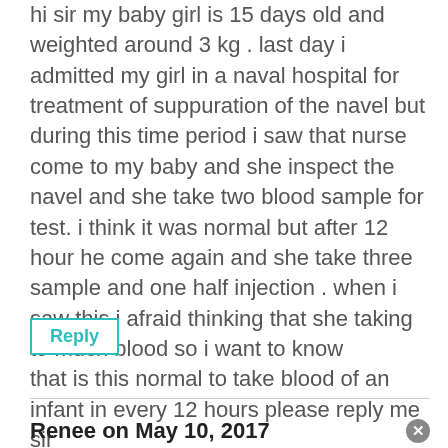hi sir my baby girl is 15 days old and weighted around 3 kg . last day i admitted my girl in a naval hospital for treatment of suppuration of the navel but during this time period i saw that nurse come to my baby and she inspect the navel and she take two blood sample for test. i think it was normal but after 12 hour he come again and she take three sample and one half injection . when i saw this i afraid thinking that she taking to much blood so i want to know that is this normal to take blood of an infant in every 12 hours please reply me sir
Reply
Renee on May 10, 2017